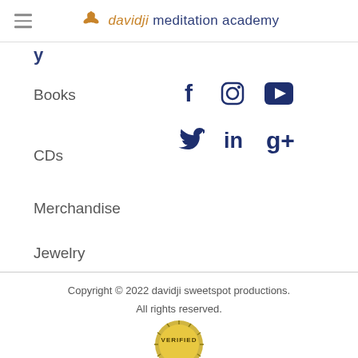davidji meditation academy
y
Books
CDs
Merchandise
Jewelry
[Figure (infographic): Social media icons: Facebook, Instagram, YouTube (first row); Twitter, LinkedIn, Google+ (second row)]
Copyright © 2022 davidji sweetspot productions. All rights reserved.
[Figure (illustration): VERIFIED badge/seal in gold and olive colors, partially visible at bottom]